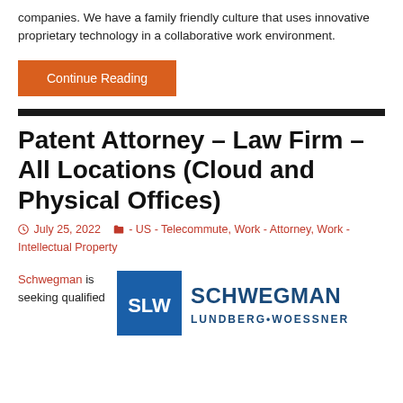companies. We have a family friendly culture that uses innovative proprietary technology in a collaborative work environment.
Continue Reading
Patent Attorney – Law Firm – All Locations (Cloud and Physical Offices)
July 25, 2022  - US - Telecommute, Work - Attorney, Work - Intellectual Property
Schwegman is seeking qualified